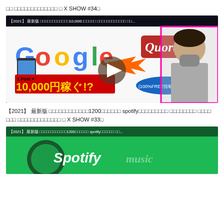□□ □□□□□□□□□□□□□ □ X SHOW #34□
[Figure (screenshot): YouTube video thumbnail showing Google logo with arrow pointing to Quora logo, text reading 1 Post = 10,000円稼ぐ!? and (100%FREE情報), with a man wearing a gray mask and blazer. Video play button overlay. Caption text at top reads 【2021】 最新版 □□□□□□□□□□□□10,000□□□□□□ □□□□□□□□□□□□ □□...]
【2021】 最新版 □□□□□□□□□□□□1200□□□□□□ spotify□□□□□□□□□ □□□□□□□□ □□□□ □□□ □□□□□□□□□□□□□ □ X SHOW #33□
[Figure (screenshot): YouTube video thumbnail with Spotify green background, Spotify logo visible, text reads 【2021】 最新版 □□□□□□□□□□□□1200□□□□□□ spotify□□□□□□ □□...]